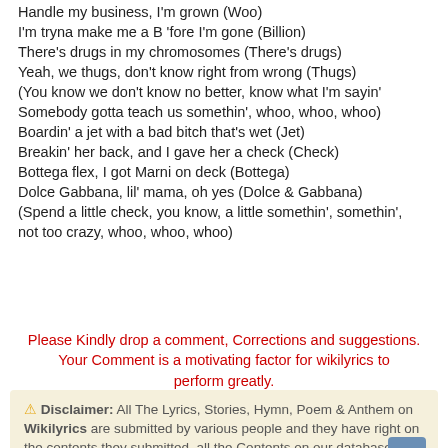Handle my business, I'm grown (Woo)
I'm tryna make me a B 'fore I'm gone (Billion)
There's drugs in my chromosomes (There's drugs)
Yeah, we thugs, don't know right from wrong (Thugs)
(You know we don't know no better, know what I'm sayin'
Somebody gotta teach us somethin', whoo, whoo, whoo)
Boardin' a jet with a bad bitch that's wet (Jet)
Breakin' her back, and I gave her a check (Check)
Bottega flex, I got Marni on deck (Bottega)
Dolce Gabbana, lil' mama, oh yes (Dolce & Gabbana)
(Spend a little check, you know, a little somethin', somethin', not too crazy, whoo, whoo, whoo)
Please Kindly drop a comment, Corrections and suggestions. Your Comment is a motivating factor for wikilyrics to perform greatly.
⚠ Disclaimer: All The Lyrics, Stories, Hymn, Poem & Anthem on Wikilyrics are submitted by various people and they have right on the contents they submitted, all the Contents on our database is for